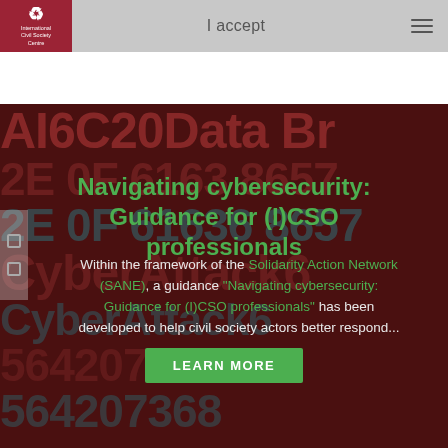I accept
[Figure (screenshot): Dark red background with large alphanumeric code characters (AI6C20, Data Br, hex digits, Cyber Attack) in red and teal/cyan tones, suggesting a cybersecurity data breach visual]
Navigating cybersecurity: Guidance for (I)CSO professionals
Within the framework of the Solidarity Action Network (SANE), a guidance "Navigating cybersecurity: Guidance for (I)CSO professionals" has been developed to help civil society actors better respond...
LEARN MORE